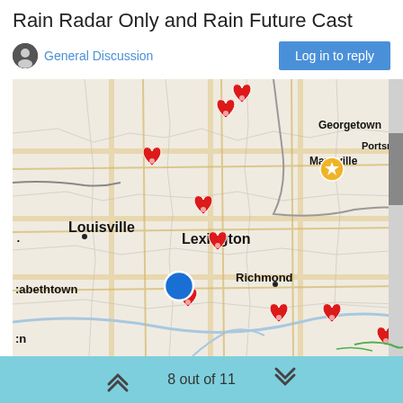Rain Radar Only and Rain Future Cast
General Discussion
Log in to reply
[Figure (map): A road map centered on Kentucky showing cities including Louisville, Lexington, Georgetown, Maysville, Portsmouth, Richmond, and Elizabethtown. The map contains multiple red heart-shaped markers scattered across the region, one blue circle marker near the center-bottom, and one gold star marker near Maysville. There is a gray scrollbar on the right edge of the map.]
8 out of 11